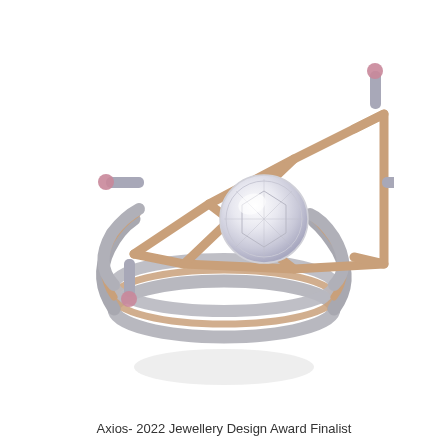[Figure (photo): A jewellery ring with a complex avant-garde design featuring multiple stacked silver/grey metallic bands intertwined together, topped with a rose gold geometric arrow/star-shaped setting holding a large round brilliant-cut diamond in the center, accented with small pink gemstones (likely pink diamonds or sapphires) at the tips of the gold prongs. The ring is photographed on a white background with a soft shadow reflection below.]
Axios- 2022 Jewellery Design Award Finalist